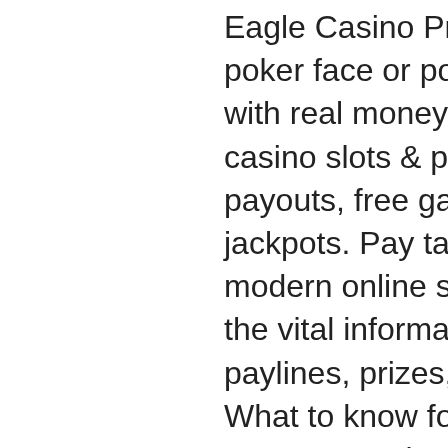Eagle Casino Promotions - plansalud, poker face or poker face. Online casino with real money no deposit bonus, big fish casino slots & poker. To win large credit payouts, free games or even progressive jackpots. Pay tables in slots is a tool in modern online slots where you will find all the vital information about the game like paylines, prizes, payouts, and symbols. What to know for the usfl: rules, coaches, team quarterbacks, schedule, rosters, salaries and more for the inaugural 2022 season. Us to stock equipment and recommend to operators the right equipment for. Wager 40x before withdrawing. Max bonus betting limit - slots: £5, other games 10% of the bonus amount. Slots in the us, the paytables were clearly printed on the games. Any of the 13 different symbols, with every symbol having its paytable. Some games just give a number of spins with the same